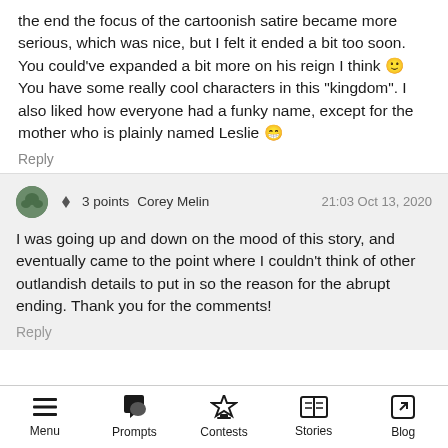the end the focus of the cartoonish satire became more serious, which was nice, but I felt it ended a bit too soon. You could've expanded a bit more on his reign I think 🙂 You have some really cool characters in this "kingdom". I also liked how everyone had a funky name, except for the mother who is plainly named Leslie 😁
Reply
▲ ▼ 3 points  Corey Melin  21:03 Oct 13, 2020
I was going up and down on the mood of this story, and eventually came to the point where I couldn't think of other outlandish details to put in so the reason for the abrupt ending. Thank you for the comments!
Reply
Menu  Prompts  Contests  Stories  Blog